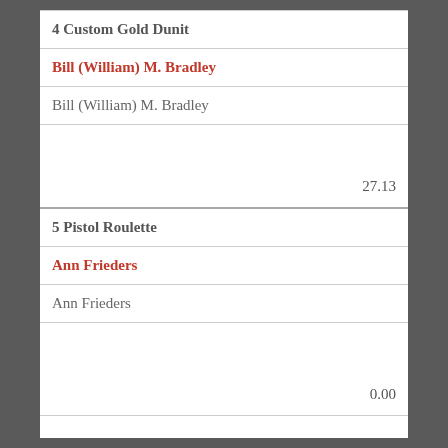| 4 Custom Gold Dunit |
| Bill (William) M. Bradley |
| Bill (William) M. Bradley |
| 27.13 |
| 5 Pistol Roulette |
| Ann Frieders |
| Ann Frieders |
| 0.00 |